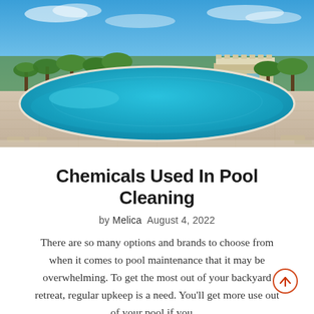[Figure (photo): Outdoor resort swimming pool with blue water, surrounded by palm trees, paved deck area, and a small pavilion structure under a blue sky.]
Chemicals Used In Pool Cleaning
by Melica  August 4, 2022
There are so many options and brands to choose from when it comes to pool maintenance that it may be overwhelming. To get the most out of your backyard retreat, regular upkeep is a need. You'll get more use out of your pool if you…